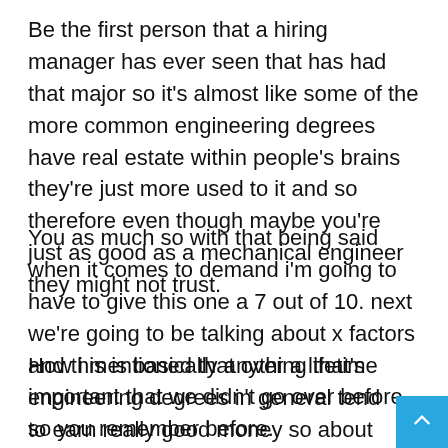Be the first person that a hiring manager has ever seen that has had that major so it's almost like some of the more common engineering degrees have real estate within people's brains they're just more used to it and so therefore even though maybe you're just as good as a mechanical engineer they might not trust.
You as much so with that being said when it comes to demand i'm going to have to give this one a 7 out of 10. next we're going to be talking about x factors and this is basically anything that's important that we didn't go over before so you remember before.
How i mentioned that over a lifetime engineering degrees in general tend to earn really good money so about 3.5 million over a lifetime compared to 2.4 million for all other types of degrees the lifetime earnings tend to be really high paying